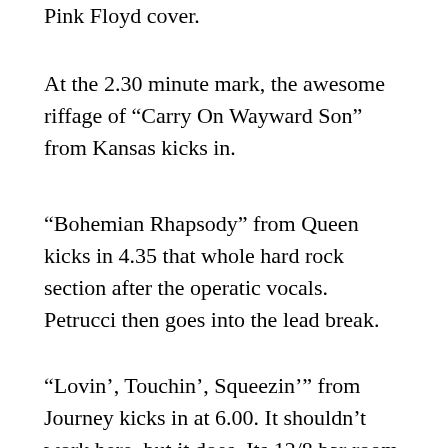Pink Floyd cover.
At the 2.30 minute mark, the awesome riffage of “Carry On Wayward Son” from Kansas kicks in.
“Bohemian Rhapsody” from Queen kicks in 4.35 that whole hard rock section after the operatic vocals. Petrucci then goes into the lead break.
“Lovin’, Touchin’, Squeezin’” from Journey kicks in at 6.00. It shouldn’t work here, but it does. Its 12/8 bar room boogie riff works perfectly